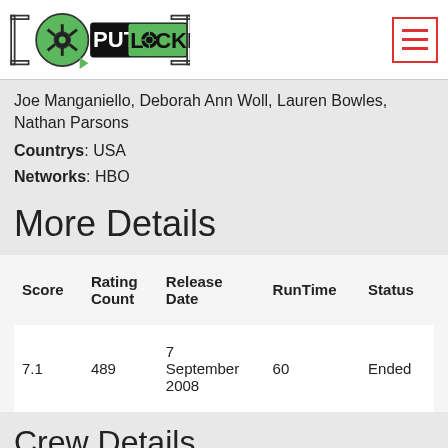[Figure (logo): PutLocker logo with film reel icon and text PUT LOCKER on black background]
Joe Manganiello, Deborah Ann Woll, Lauren Bowles, Nathan Parsons
Countrys: USA
Networks: HBO
More Details
| Score | Rating Count | Release Date | RunTime | Status |
| --- | --- | --- | --- | --- |
| 7.1 | 489 | 7 September 2008 | 60 | Ended |
Crew Details